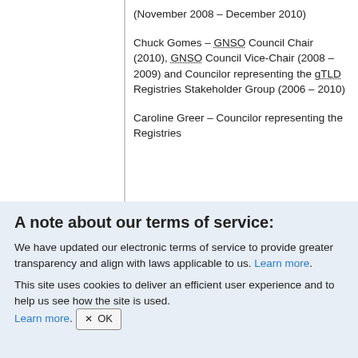Appointed to the [GNSO] Council (November 2008 – December 2010)
Chuck Gomes – GNSO Council Chair (2010), GNSO Council Vice-Chair (2008 – 2009) and Councilor representing the gTLD Registries Stakeholder Group (2006 – 2010)
Caroline Greer – Councilor representing the Registries
A note about our terms of service:
We have updated our electronic terms of service to provide greater transparency and align with laws applicable to us. Learn more.
This site uses cookies to deliver an efficient user experience and to help us see how the site is used. Learn more.